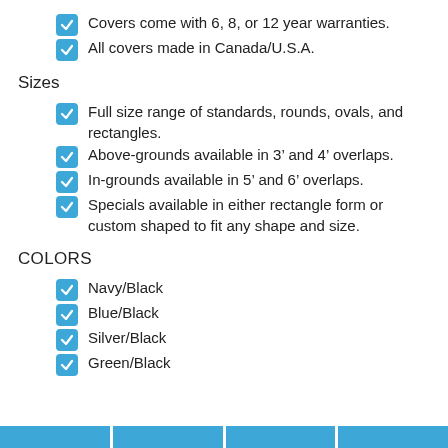Covers come with 6, 8, or 12 year warranties.
All covers made in Canada/U.S.A.
Sizes
Full size range of standards, rounds, ovals, and rectangles.
Above-grounds available in 3’ and 4’ overlaps.
In-grounds available in 5’ and 6’ overlaps.
Specials available in either rectangle form or custom shaped to fit any shape and size.
COLORS
Navy/Black
Blue/Black
Silver/Black
Green/Black